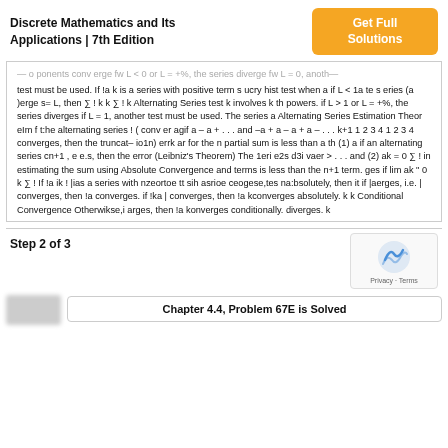Discrete Mathematics and Its Applications | 7th Edition
Get Full Solutions
test must be used. If !a k is a series with positive term s ucry hist test when a if L < 1a te s eries (a )erge s= L, then ∑ ! k k ∑ ! k Alternating Series test k involves k th powers. if L > 1 or L = +%, the series diverges if L = 1, another test must be used. The series a Alternating Series Estimation Theor eIm f t:he alternating series ! ( conv er agif a – a + . . . and –a + a – a + a – . . . k+1 1 2 3 4 1 2 3 4 converges, then the truncat– io1n) errk ar for the n partial sum is less than a th (1) a if an alternating series cn+1 , e e.s, then the error (Leibniz's Theorem) The 1eri e2s d3i vaer > . . . and (2) ak = 0 ∑ ! in estimating the sum using Absolute Convergence and terms is less than the n+1 term. ges if lim ak " 0 k ∑ ! If !a ik ! |ias a series with nzeortoe tt sih asrioe ceogese,tes na:bsolutely, then it if |aerges, i.e. | converges, then !a converges. if !ka | converges, then !a kconverges absolutely. k k Conditional Convergence Otherwikse,i arges, then !a konverges conditionally. diverges. k
Step 2 of 3
Chapter 4.4, Problem 67E is Solved